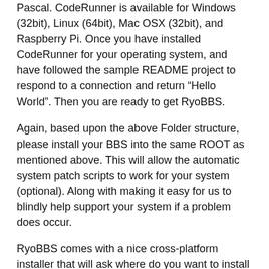Pascal. CodeRunner is available for Windows (32bit), Linux (64bit), Mac OSX (32bit), and Raspberry Pi. Once you have installed CodeRunner for your operating system, and have followed the sample README project to respond to a connection and return “Hello World”. Then you are ready to get RyoBBS.
Again, based upon the above Folder structure, please install your BBS into the same ROOT as mentioned above. This will allow the automatic system patch scripts to work for your system (optional). Along with making it easy for us to blindly help support your system if a problem does occur.
RyoBBS comes with a nice cross-platform installer that will ask where do you want to install your BBS (root path), along with the name of your BBS, your name, your email address, along with what port you would like the BBS to accept connections on, and what password would you like to use to access the SETUP screens. The installer will